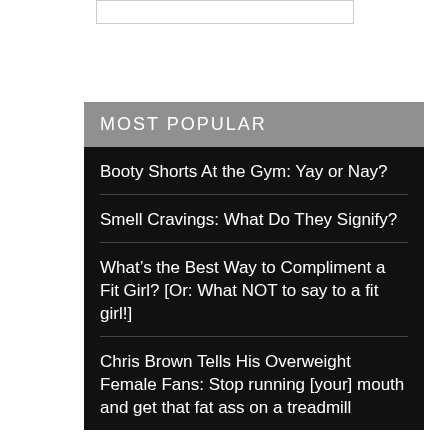[Figure (other): White rectangle box at top center, likely a search or input field outline]
MOST POPULAR
Booty Shorts At the Gym: Yay or Nay?
Smell Cravings: What Do They Signify?
What’s the Best Way to Compliment a Fit Girl? [Or: What NOT to say to a fit girl!]
Chris Brown Tells His Overweight Female Fans: Stop running [your] mouth and get that fat ass on a treadmill